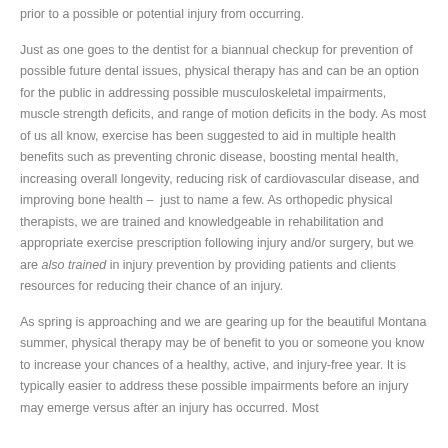prior to a possible or potential injury from occurring.
Just as one goes to the dentist for a biannual checkup for prevention of possible future dental issues, physical therapy has and can be an option for the public in addressing possible musculoskeletal impairments, muscle strength deficits, and range of motion deficits in the body. As most of us all know, exercise has been suggested to aid in multiple health benefits such as preventing chronic disease, boosting mental health, increasing overall longevity, reducing risk of cardiovascular disease, and improving bone health – just to name a few. As orthopedic physical therapists, we are trained and knowledgeable in rehabilitation and appropriate exercise prescription following injury and/or surgery, but we are also trained in injury prevention by providing patients and clients resources for reducing their chance of an injury.
As spring is approaching and we are gearing up for the beautiful Montana summer, physical therapy may be of benefit to you or someone you know to increase your chances of a healthy, active, and injury-free year. It is typically easier to address these possible impairments before an injury may emerge versus after an injury has occurred. Most